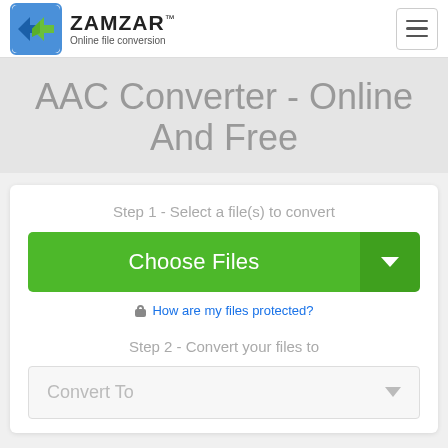ZAMZAR™ Online file conversion
AAC Converter - Online And Free
Step 1 - Select a file(s) to convert
[Figure (screenshot): Green 'Choose Files' button with dropdown arrow]
🔒 How are my files protected?
Step 2 - Convert your files to
[Figure (screenshot): Convert To dropdown selector]